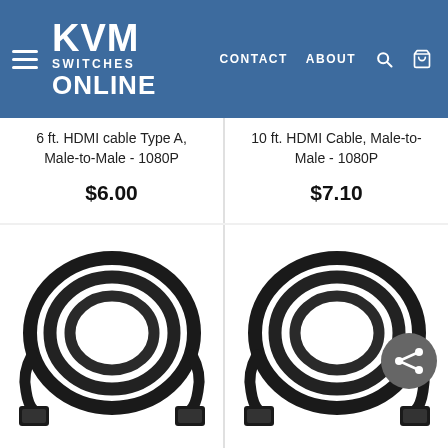KVM SWITCHES ONLINE — CONTACT ABOUT
6 ft. HDMI cable Type A, Male-to-Male - 1080P
$6.00
10 ft. HDMI Cable, Male-to-Male - 1080P
$7.10
[Figure (photo): Black HDMI cable coiled, with two HDMI connectors visible at each end. Product image for NTI HD-15-MM.]
NTI HD-15-MM
[Figure (photo): Black HDMI cable coiled, with two HDMI connectors visible at each end, with a share button overlay. Product image for NTI HD-25-MM.]
NTI HD-25-MM